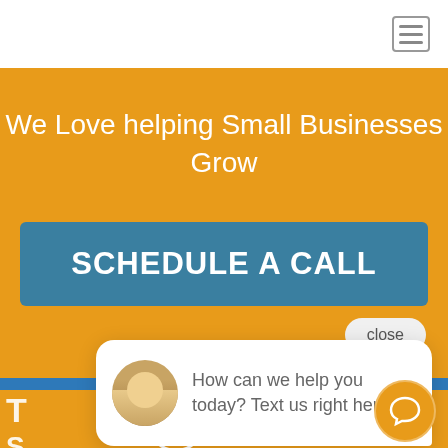[Figure (screenshot): Navigation bar with hamburger menu icon in top right corner on white background]
We Love helping Small Businesses Grow
SCHEDULE A CALL
close
[Figure (photo): Chat bubble with a woman's profile photo avatar and the text: How can we help you today? Text us right here.]
How can we help you today? Text us right here.
CALL US GET ANSWERS FAST
[Figure (illustration): Orange chat bubble icon in bottom right corner]
[Figure (illustration): Phone handset icon inside circle on orange bar at bottom]